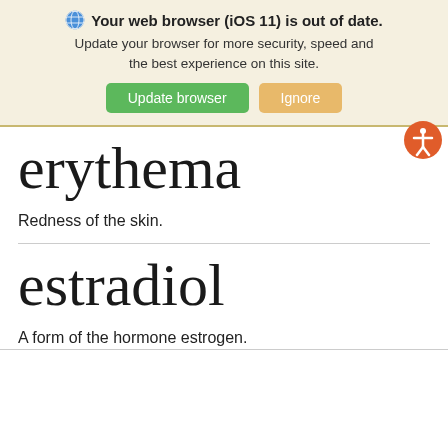[Figure (screenshot): Browser notification banner: 'Your web browser (iOS 11) is out of date. Update your browser for more security, speed and the best experience on this site.' with 'Update browser' (green) and 'Ignore' (tan) buttons.]
erythema
Redness of the skin.
estradiol
A form of the hormone estrogen.